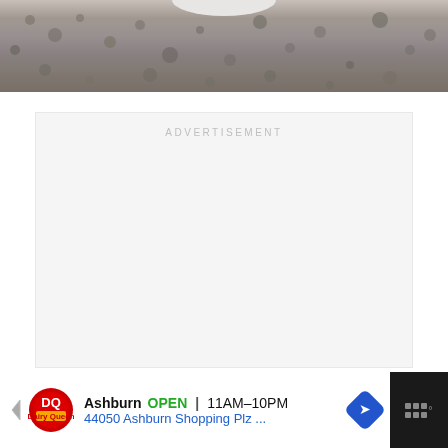[Figure (photo): Partial view of a white rounded object (possibly a container lid) on gravelly asphalt surface, cropped at top of frame]
ADVERTISEMENT
[Figure (other): Advertisement banner showing Dairy Queen (DQ) ad: Ashburn OPEN 11AM-10PM, 44050 Ashburn Shopping Plz ... with navigation arrow icon. Right side shows a dark widget with grid dots and degree symbol.]